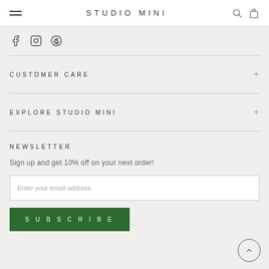STUDIO MINI
[Figure (other): Social media icons: Facebook, Instagram, Pinterest]
CUSTOMER CARE
EXPLORE STUDIO MINI
NEWSLETTER
Sign up and get 10% off on your next order!
Enter your email address
SUBSCRIBE